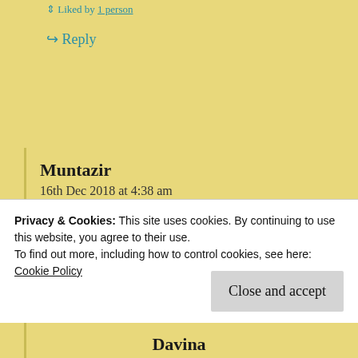Liked by 1 person
↳ Reply
Muntazir
16th Dec 2018 at 4:38 am
Nicely answered. May Allah guide you to the righteous path.
★ Like
Privacy & Cookies: This site uses cookies. By continuing to use this website, you agree to their use. To find out more, including how to control cookies, see here: Cookie Policy
Close and accept
Davina